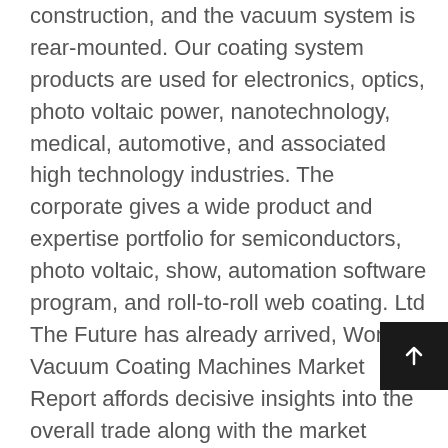construction, and the vacuum system is rear-mounted. Our coating system products are used for electronics, optics, photo voltaic power, nanotechnology, medical, automotive, and associated high technology industries. The corporate gives a wide product and expertise portfolio for semiconductors, photo voltaic, show, automation software program, and roll-to-roll web coating. Ltd The Future has already arrived, World Vacuum Coating Machines Market Report affords decisive insights into the overall trade along with the market dimensions and analysis for the duration 2020 to 2029. Vacuum coating machine products are most popular in South Korea, India, and United States. Integrated circuits signify a key software space of CVD tools and increasing technological developments fueled the manufacturing of electronic gadgets a...